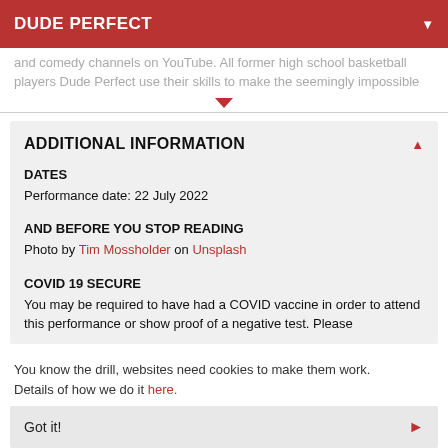DUDE PERFECT
and comedy channels on YouTube. All former high school basketball players Dude Perfect use their skills to make the seemingly impossible
ADDITIONAL INFORMATION
DATES
Performance date: 22 July 2022
AND BEFORE YOU STOP READING
Photo by Tim Mossholder on Unsplash
COVID 19 SECURE
You may be required to have had a COVID vaccine in order to attend this performance or show proof of a negative test. Please
You know the drill, websites need cookies to make them work. Details of how we do it here.
Got it!